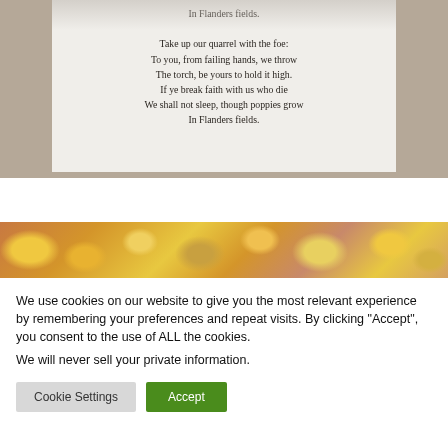[Figure (photo): Photograph of a printed poem card showing the final stanza of 'In Flanders Fields', displayed on a beige/tan background. The card reads: 'In Flanders fields. / Take up our quarrel with the foe: / To you, from failing hands, we throw / The torch, be yours to hold it high. / If ye break faith with us who die / We shall not sleep, though poppies grow / In Flanders fields.']
[Figure (photo): A close-up photograph of yellow and pink flowers (possibly poppies or similar blossoms) with a warm, golden-toned bokeh background.]
We use cookies on our website to give you the most relevant experience by remembering your preferences and repeat visits. By clicking "Accept", you consent to the use of ALL the cookies.
We will never sell your private information.